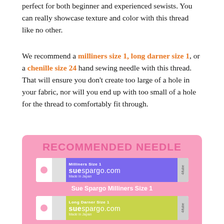perfect for both beginner and experienced sewists. You can really showcase texture and color with this thread like no other.
We recommend a milliners size 1, long darner size 1, or a chenille size 24 hand sewing needle with this thread. That will ensure you don't create too large of a hole in your fabric, nor will you end up with too small of a hole for the thread to comfortably fit through.
[Figure (infographic): Pink box with 'RECOMMENDED NEEDLE' heading showing Sue Spargo Milliners Size 1 and Sue Spargo Long Darner Size 1 needle packaging images with captions.]